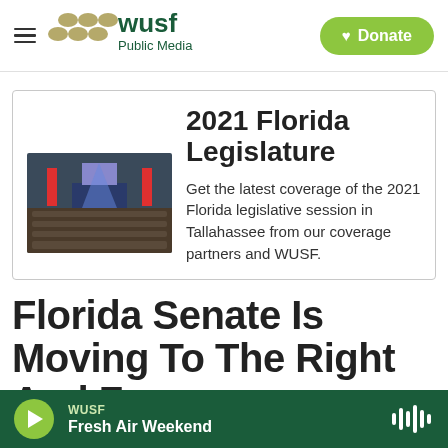WUSF Public Media — Donate
2021 Florida Legislature
Get the latest coverage of the 2021 Florida legislative session in Tallahassee from our coverage partners and WUSF.
Florida Senate Is Moving To The Right And F...
WUSF — Fresh Air Weekend